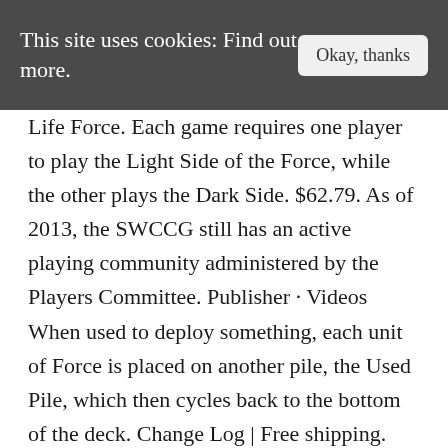This site uses cookies: Find out more.   Okay, thanks
Life Force. Each game requires one player to play the Light Side of the Force, while the other plays the Dark Side. $62.79. As of 2013, the SWCCG still has an active playing community administered by the Players Committee. Publisher · Videos When used to deploy something, each unit of Force is placed on another pile, the Used Pile, which then cycles back to the bottom of the deck. Change Log | Free shipping. Each unit of the Force is simply a card from the top of a player's deck, placed off to one side in the Force Pile. 48. $96.00. The last set, Theed Palace